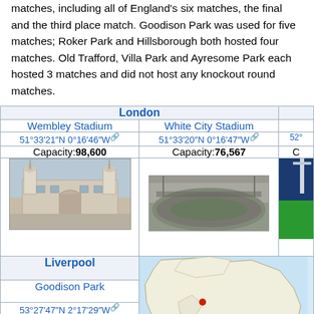matches, including all of England's six matches, the final and the third place match. Goodison Park was used for five matches; Roker Park and Hillsborough both hosted four matches. Old Trafford, Villa Park and Ayresome Park each hosted 3 matches and did not host any knockout round matches.
| London |  |  |
| --- | --- | --- |
| Wembley Stadium | White City Stadium |  |
| 51°33′21″N 0°16′46″W | 51°33′20″N 0°16′47″W | 52°... |
| Capacity: 98,600 | Capacity: 76,567 | C |
| [image of Wembley Stadium] | [image of White City Stadium] | [partial image] |
| Liverpool | [map] |  |
| Goodison Park | [map] |  |
| 53°27′47″N 2°17′29″W | [map] |  |
| Capacity: 50,151 | [map] |  |